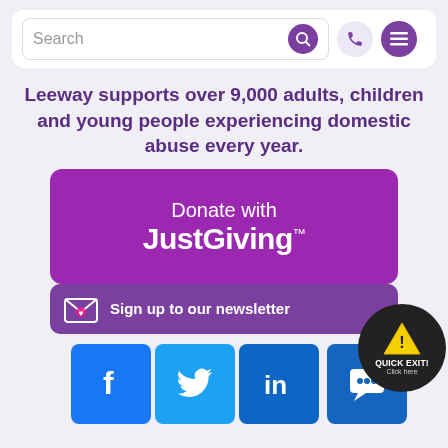Search [search icon] [phone icon] [menu icon]
Leeway supports over 9,000 adults, children and young people experiencing domestic abuse every year.
[Figure (screenshot): Purple 'Donate with JustGiving' button]
[Figure (screenshot): Purple 'Sign up to our newsletter' button with envelope icon]
[Figure (screenshot): Social media icons: Facebook, Twitter, LinkedIn, and chat icon. Quick Exit warning button overlay.]